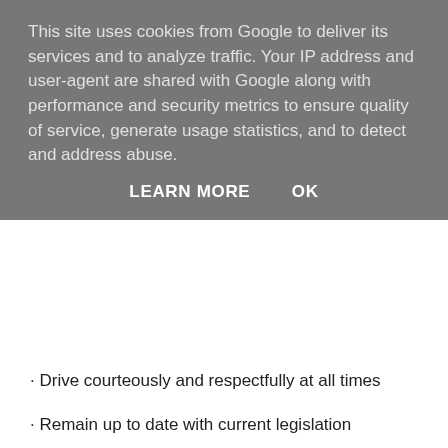This site uses cookies from Google to deliver its services and to analyze traffic. Your IP address and user-agent are shared with Google along with performance and security metrics to ensure quality of service, generate usage statistics, and to detect and address abuse.
LEARN MORE    OK
· Drive courteously and respectfully at all times
· Remain up to date with current legislation
· Uphold the Goldstar brand image, including uniform / vehicle cleanliness and standards.
The above statements are intended to describe the general nature and level of work, they are not intended to be an exhaustive list of all responsibilities, duties, and skills required of you.
The opportunity to undertake standard day work may arise in the future, therefore from time to time, did you hold the skills of a